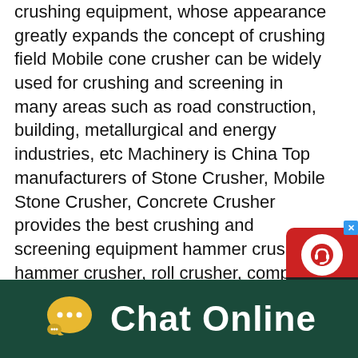crushing equipment, whose appearance greatly expands the concept of crushing field Mobile cone crusher can be widely used for crushing and screening in many areas such as road construction, building, metallurgical and energy industries, etc Machinery is China Top manufacturers of Stone Crusher, Mobile Stone Crusher, Concrete Crusher provides the best crushing and screening equipment hammer crusher, hammer crusher, roll crusher, compound crusher, cone crusher machine, twostage crusher, gyratory crusher, mobile crusher and on YIFAN ServiceStone Crushers,Stone Crusher,Rock Crusher,Crusher MachineCrusher Supplier leading technology! Machinery is a Chinese professional manufacturer of crushers, crushing device models! Crusher manufacturers exported to south africa, india, malaysia, delhi, Russia, Mongolia, Central Asia, Africa and other more than 120 countries worldwide, welcome foreign
[Figure (other): Live chat widget popup with red circular background showing headset/chat icon, and dark bottom section with 'Chat Now' text. Close (x) button in blue at top right corner.]
[Figure (other): Dark teal/green bottom bar with yellow speech bubble icon (with three dots) and white 'Chat Online' text in large bold font.]